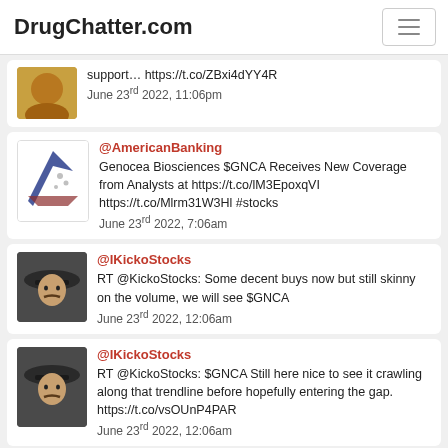DrugChatter.com
support... https://t.co/ZBxi4dYY4R
June 23rd 2022, 11:06pm
Genocea Biosciences $GNCA Receives New Coverage from Analysts at https://t.co/lM3EpoxqVI https://t.co/Mlrm31W3Hl #stocks
June 23rd 2022, 7:06am
RT @KickoStocks: Some decent buys now but still skinny on the volume, we will see $GNCA
June 23rd 2022, 12:06am
RT @KickoStocks: $GNCA Still here nice to see it crawling along that trendline before hopefully entering the gap. https://t.co/vsOUnP4PAR
June 23rd 2022, 12:06am